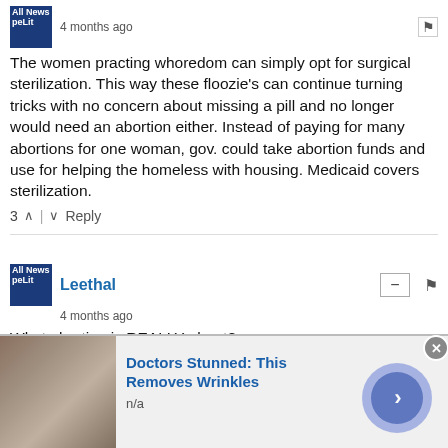The women practing whoredom can simply opt for surgical sterilization. This way these floozie's can continue turning tricks with no concern about missing a pill and no longer would need an abortion either. Instead of paying for many abortions for one woman, gov. could take abortion funds and use for helping the homeless with housing. Medicaid covers sterilization.
3 ^ | v Reply
Leethal
4 months ago
What abortion is REALLY about?
God made women to bear babies. In another words a baby producing "factory" (excuse the term but for clarification) but abortionist want it to be used as a baby killing "factory" instead
[Figure (screenshot): Ad banner: 'Doctors Stunned: This Removes Wrinkles' with n/a subtitle, thumbnail of skin close-up, blue circle with arrow, infolinks label, and close button]